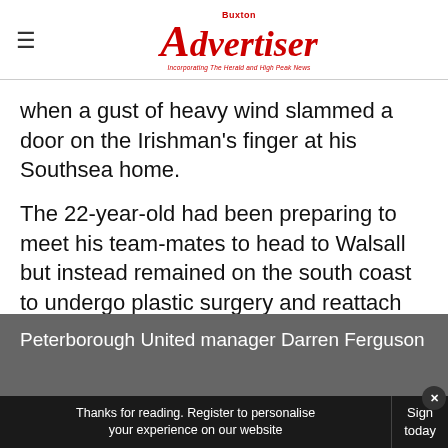Buxton Advertiser — Incorporating The Herald and High Peak News
when a gust of heavy wind slammed a door on the Irishman's finger at his Southsea home.
The 22-year-old had been preparing to meet his team-mates to head to Walsall but instead remained on the south coast to undergo plastic surgery and reattach the top of his finger.
Advertisement
Peterborough United manager Darren Ferguson
Thanks for reading. Register to personalise your experience on our website
Sign today